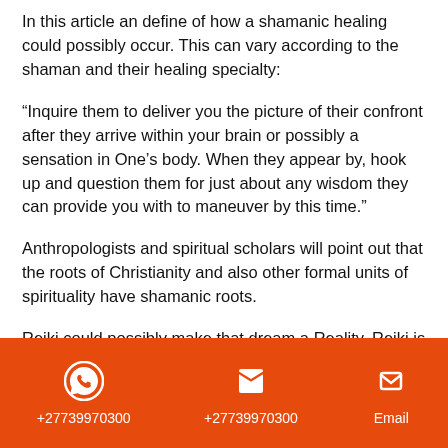In this article an define of how a shamanic healing could possibly occur. This can vary according to the shaman and their healing specialty:
“Inquire them to deliver you the picture of their confront after they arrive within your brain or possibly a sensation in One’s body. When they appear by, hook up and question them for just about any wisdom they can provide you with to maneuver by this time.”
Anthropologists and spiritual scholars will point out that the roots of Christianity and also other formal units of spirituality have shamanic roots.
Reiki could possibly make that dream a Reality. Reiki is an incredible self-control which could cleanse The body
+27739970300  +27739970300  Email